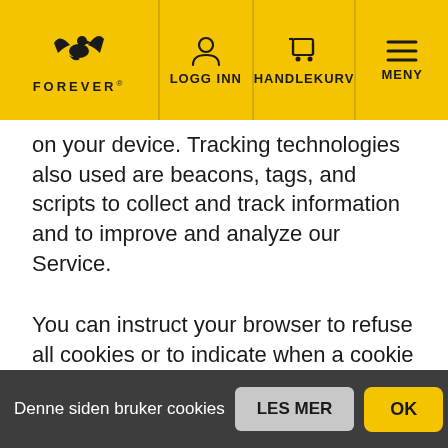FOREVER® | LOGG INN | HANDLEKURV | MENY
on your device. Tracking technologies also used are beacons, tags, and scripts to collect and track information and to improve and analyze our Service.
You can instruct your browser to refuse all cookies or to indicate when a cookie is being sent. However, if you do not accept cookies, you may not be able to use some portions of our Service.
Examples of Cookies we use:
Session Cookies. We use Session Cookies to operate
Denne siden bruker cookies  LES MER  OK